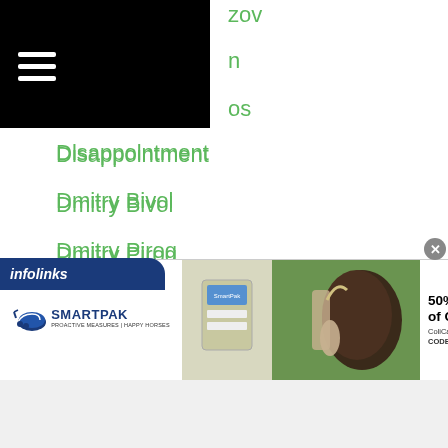[Figure (screenshot): Navigation menu bar with hamburger icon on black background]
zov
n
os
Disappointment
Dmitry Bivol
Dmitry Pirog
Dodie Boy Penalosa Jr
Do Ha Kim
Do Jin Lee
Dominique Kenshin
Dong Hee Kim
Dong Ho Geum
Dong Hoon Yook
Dong Hyun Won
Dong Kwan Lee
Dong Myung Shin
[Figure (screenshot): SmartPak advertisement banner: 50% Off Two Months of ColiCare, ColiCare Eligible Supplements, CODE: COLICARE10, Shop Now button]
[Figure (logo): infolinks logo in blue bar]